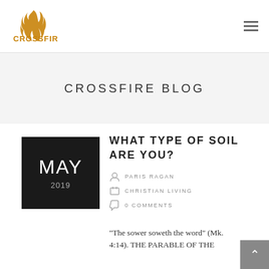[Figure (logo): Crossfire logo with flame icon, text in gold/orange color]
≡
CROSSFIRE BLOG
[Figure (other): Black date box showing MAY 2019]
WHAT TYPE OF SOIL ARE YOU?
PARIS RAGAN
CHRISTIAN LIVING
0 COMMENTS
“The sower soweth the word” (Mk. 4:14). THE PARABLE OF THE